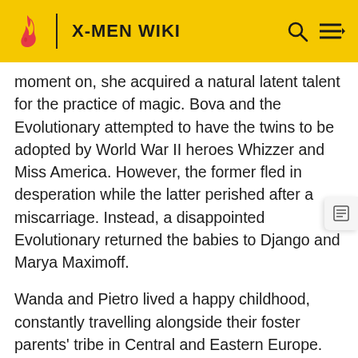X-MEN WIKI
moment on, she acquired a natural latent talent for the practice of magic. Bova and the Evolutionary attempted to have the twins to be adopted by World War II heroes Whizzer and Miss America. However, the former fled in desperation while the latter perished after a miscarriage. Instead, a disappointed Evolutionary returned the babies to Django and Marya Maximoff.
Wanda and Pietro lived a happy childhood, constantly travelling alongside their foster parents' tribe in Central and Eastern Europe. Wanda's potential for magic eventually attracted the attention of a powerful coven formed by Margali Szardos, Maria Russoff, and Lilia Calderu. Calderu approached Marya Maximoff and had her bring Wanda to Castle Russoff. They hoped to recruit